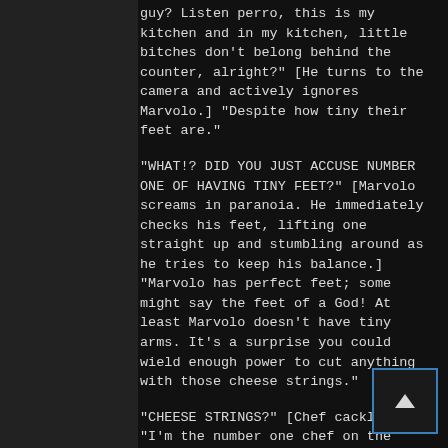guy? Listen perro, this is my kitchen and in my kitchen, little bitches don't belong behind the counter, alright?" [He turns to the camera and actively ignores Marvolo.] "Despite how tiny their feet are."
"WHAT!? DID YOU JUST ACCUSE NUMBER ONE OF HAVING TINY FEET?" [Marvolo screams in paranoia. He immediately checks his feet, lifting one straight up and stumbling around as he tries to keep his balance.] "Marvolo has perfect feet; some might say the feet of a God! At least Marvolo doesn't have tiny arms. It's a surprise you could wield enough power to cut anything with those cheese strings."
"CHEESE STRINGS?" [Chef cackles.] "I'm the number one chef on the planet! Gordon Ramsey learned all his moves from me!